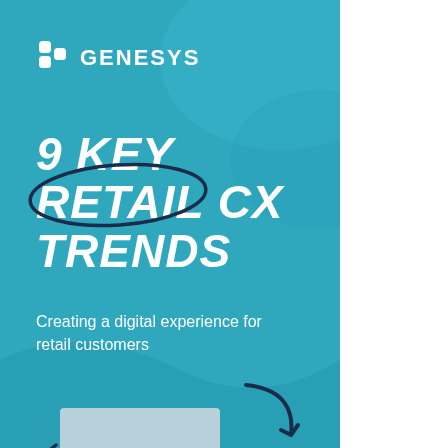[Figure (logo): Genesys logo with icon and wordmark in white on teal background]
9 KEY RETAIL CX TRENDS
Creating a digital experience for retail customers
[Figure (illustration): Download now button with dark navy background and rounded corners, decorative hand-drawn arrow and lines sketches]